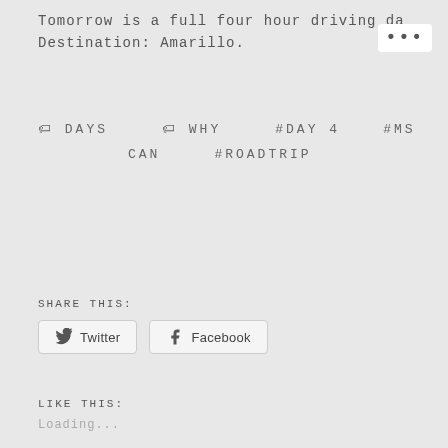Tomorrow is a full four hour driving da
Destination: Amarillo.
🏷 DAYS   🏷 WHY   #DAY 4   #MS CAN   #ROADTRIP
SHARE THIS:
Twitter   Facebook
LIKE THIS:
Loading...